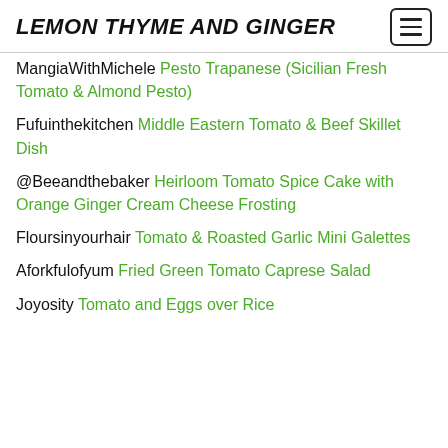LEMON THYME AND GINGER
MangiaWithMichele Pesto Trapanese (Sicilian Fresh Tomato & Almond Pesto)
Fufuinthekitchen Middle Eastern Tomato & Beef Skillet Dish
@Beeandthebaker Heirloom Tomato Spice Cake with Orange Ginger Cream Cheese Frosting
Floursinyourhair Tomato & Roasted Garlic Mini Galettes
Aforkfulofyum Fried Green Tomato Caprese Salad
Joyosity Tomato and Eggs over Rice